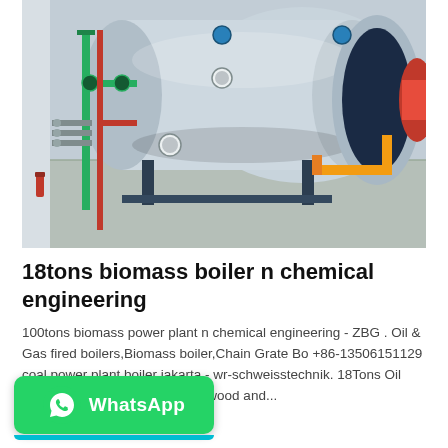[Figure (photo): Industrial boiler room showing a large horizontal cylindrical steam boiler (silver/stainless steel) mounted on a steel frame, with green and red piping, yellow gas pipes, pressure gauges, and valves in a concrete-floored room.]
18tons biomass boiler n chemical engineering
100tons biomass power plant n chemical engineering - ZBG . Oil & Gas fired boilers,Biomass boiler,Chain Grate Bo +86-13506151129 coal power plant boiler jakarta - wr-schweisstechnik. 18Tons Oil mical Engineering18tons wood and...